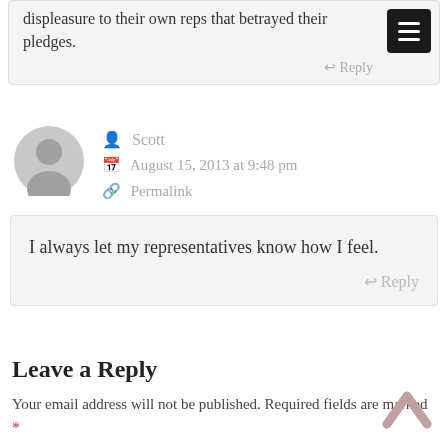displeasure to their own reps that betrayed their pledges.
Scott
August 15, 2013 at 9:48 pm
Permalink
I always let my representatives know how I feel.
Leave a Reply
Your email address will not be published. Required fields are marked *